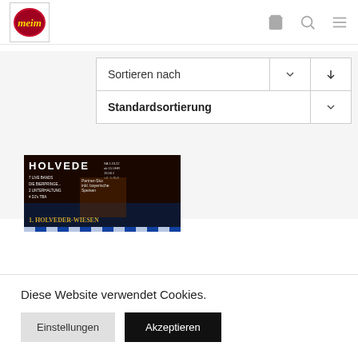[Figure (logo): Meine logo - red oval with yellow italic text]
Sortieren nach
Standardsortierung
[Figure (photo): 1. Holveder-Wiesen event banner with oktoberfest theme]
Diese Website verwendet Cookies.
Einstellungen
Akzeptieren